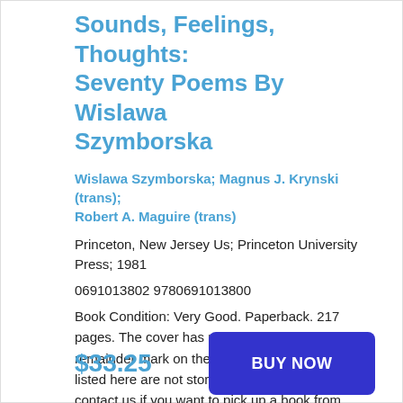Sounds, Feelings, Thoughts: Seventy Poems By Wislawa Szymborska
Wislawa Szymborska; Magnus J. Krynski (trans); Robert A. Maguire (trans)
Princeton, New Jersey Us; Princeton University Press; 1981
0691013802 9780691013800
Book Condition: Very Good. Paperback. 217 pages. The cover has minimal wear. There is a remainder mark on the bottom page edge. Books listed here are not stored at the shop. Please contact us if you want to pick up a book from Newtown.
$33.25
BUY NOW